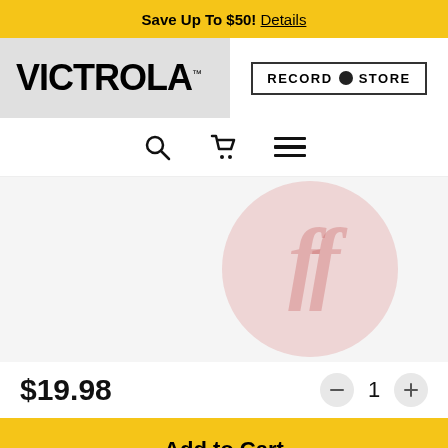Save Up To $50! Details
[Figure (logo): Victrola brand logo in bold black text on light gray background]
[Figure (logo): Record Store badge with black dot between words, inside a rectangular border]
[Figure (infographic): Navigation icons: search (magnifying glass), cart (shopping cart), menu (hamburger/three lines)]
[Figure (photo): Product image showing a vinyl record album with the Foo Fighters logo (stylized FF within a circle) on a light pink/red circular graphic, on a white/gray background]
$19.98
1
Add to Cart